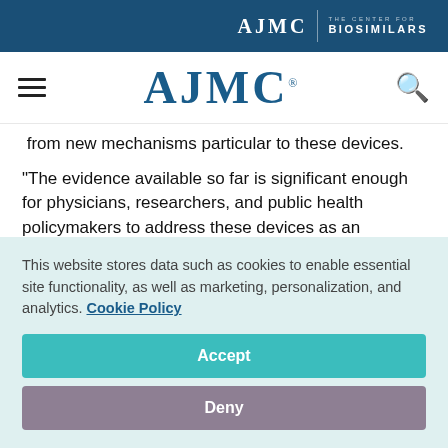AJMC | THE CENTER FOR BIOSIMILARS
[Figure (logo): AJMC logo with hamburger menu and search icon in navigation bar]
...from new mechanisms particular to these devices.
"The evidence available so far is significant enough for physicians, researchers, and public health policymakers to address these devices as an emerging public health problem that needs regulation," the researchers said.
This website stores data such as cookies to enable essential site functionality, as well as marketing, personalization, and analytics. Cookie Policy
Accept
Deny